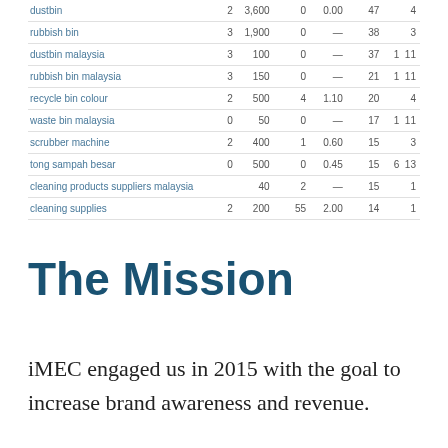| dustbin | 2 | 3,600 | 0 | 0.00 | 47 | 4 |
| rubbish bin | 3 | 1,900 | 0 | — | 38 | 3 |
| dustbin malaysia | 3 | 100 | 0 | — | 37 | 1 | 11 |
| rubbish bin malaysia | 3 | 150 | 0 | — | 21 | 1 | 11 |
| recycle bin colour | 2 | 500 | 4 | 1.10 | 20 | 4 |
| waste bin malaysia | 0 | 50 | 0 | — | 17 | 1 | 11 |
| scrubber machine | 2 | 400 | 1 | 0.60 | 15 | 3 |
| tong sampah besar | 0 | 500 | 0 | 0.45 | 15 | 6 | 13 |
| cleaning products suppliers malaysia |  | 40 | 2 | — | 15 | 1 |
| cleaning supplies | 2 | 200 | 55 | 2.00 | 14 | 1 |
The Mission
iMEC engaged us in 2015 with the goal to increase brand awareness and revenue.